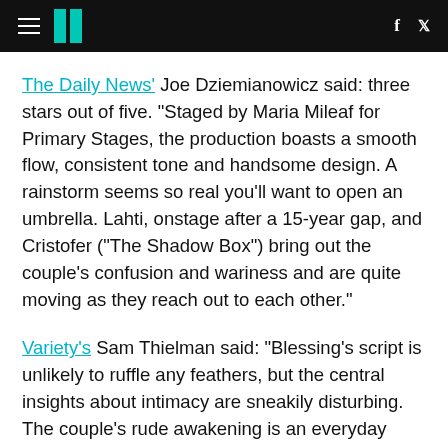HuffPost header with hamburger menu, logo, Facebook and Twitter icons
The Daily News' Joe Dziemianowicz said: three stars out of five. "Staged by Maria Mileaf for Primary Stages, the production boasts a smooth flow, consistent tone and handsome design. A rainstorm seems so real you'll want to open an umbrella. Lahti, onstage after a 15-year gap, and Cristofer ("The Shadow Box") bring out the couple's confusion and wariness and are quite moving as they reach out to each other."
Variety's Sam Thielman said: "Blessing's script is unlikely to ruffle any feathers, but the central insights about intimacy are sneakily disturbing. The couple's rude awakening is an everyday